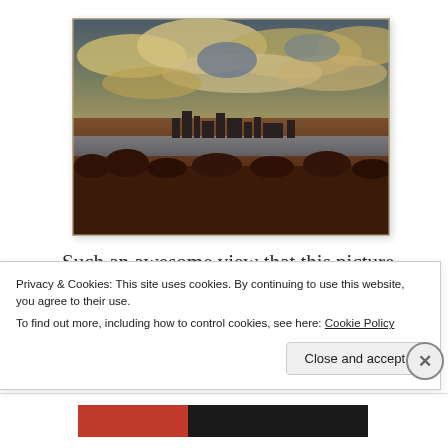[Figure (photo): Landscape photo with dramatic cloudy sky, a city skyline in the middle distance, a river or lake, and dark foreground vegetation. Colors are warm and saturated with a vintage/HDR tone.]
Such an awesome view that this picture barely does it justice. I was
Privacy & Cookies: This site uses cookies. By continuing to use this website, you agree to their use.
To find out more, including how to control cookies, see here: Cookie Policy
Close and accept